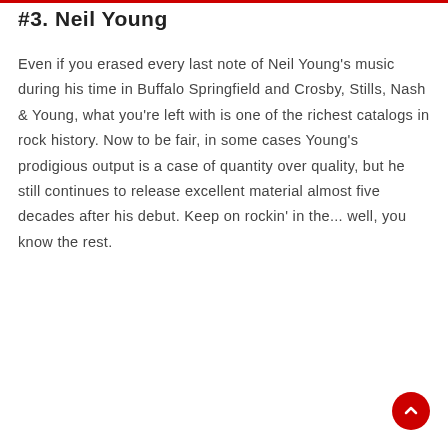#3. Neil Young
Even if you erased every last note of Neil Young's music during his time in Buffalo Springfield and Crosby, Stills, Nash & Young, what you're left with is one of the richest catalogs in rock history. Now to be fair, in some cases Young's prodigious output is a case of quantity over quality, but he still continues to release excellent material almost five decades after his debut. Keep on rockin' in the... well, you know the rest.